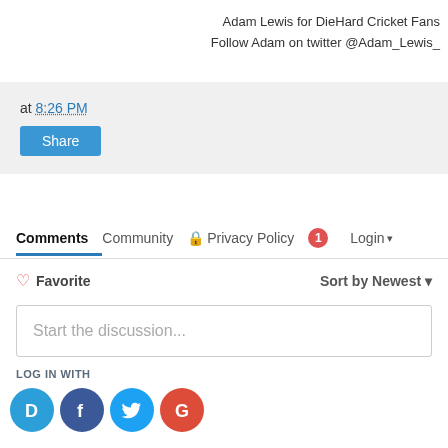Adam Lewis for DieHard Cricket Fans
Follow Adam on twitter @Adam_Lewis_
at 8:26 PM
Share
Comments  Community  🔒 Privacy Policy  1  Login
♡ Favorite   Sort by Newest
Start the discussion...
LOG IN WITH
[Figure (logo): Four social login icons: Disqus (blue D), Facebook (dark blue f), Twitter (blue bird), Google (red G)]